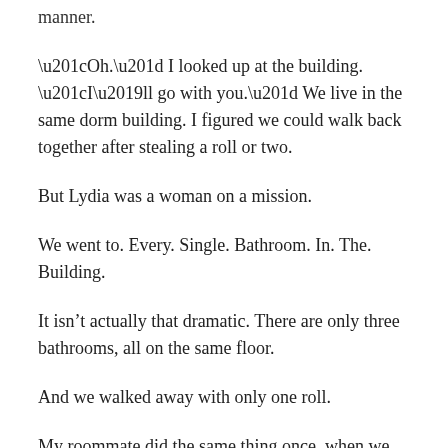manner.
“Oh.” I looked up at the building. “I’ll go with you.” We live in the same dorm building. I figured we could walk back together after stealing a roll or two.
But Lydia was a woman on a mission.
We went to. Every. Single. Bathroom. In. The. Building.
It isn’t actually that dramatic. There are only three bathrooms, all on the same floor.
And we walked away with only one roll.
My roommate did the same thing once, when we were out of toilet paper. And, to be completely honest, I have, too. (Fine. I’ve been an accessory twice and perpetrator